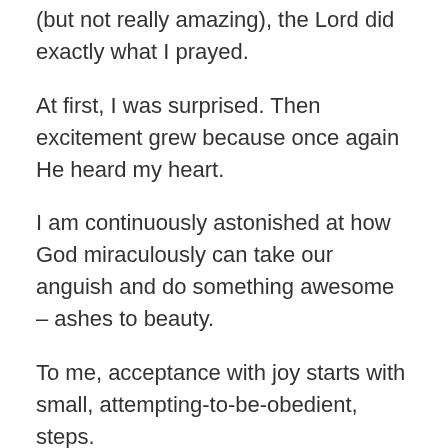(but not really amazing), the Lord did exactly what I prayed.
At first, I was surprised. Then excitement grew because once again He heard my heart.
I am continuously astonished at how God miraculously can take our anguish and do something awesome – ashes to beauty.
To me, acceptance with joy starts with small, attempting-to-be-obedient, steps.
I still don't have all the answers in how to accomplish this, but I believe it is a continuing journey.
Let us walk faithfully.